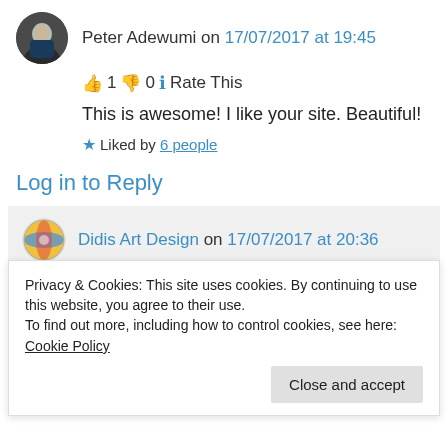Peter Adewumi on 17/07/2017 at 19:45
👍 1 👎 0 ℹ Rate This
This is awesome! I like your site. Beautiful!
★ Liked by 6 people
Log in to Reply
Didis Art Design on 17/07/2017 at 20:36
Privacy & Cookies: This site uses cookies. By continuing to use this website, you agree to their use.
To find out more, including how to control cookies, see here: Cookie Policy
Close and accept
★ Liked by 3 people